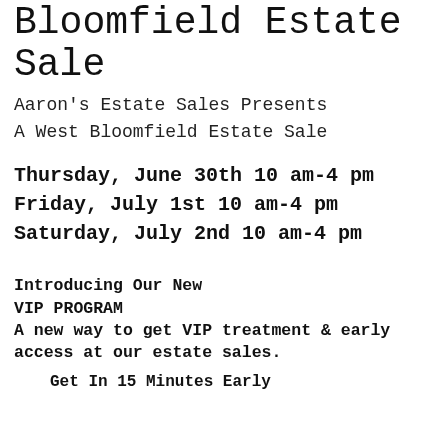% Off A West Bloomfield Estate Sale
Aaron's Estate Sales Presents
A West Bloomfield Estate Sale
Thursday, June 30th 10 am-4 pm
Friday, July 1st 10 am-4 pm
Saturday, July 2nd 10 am-4 pm
Introducing Our New VIP PROGRAM A new way to get VIP treatment & early access at our estate sales.
Get In 15 Minutes Early